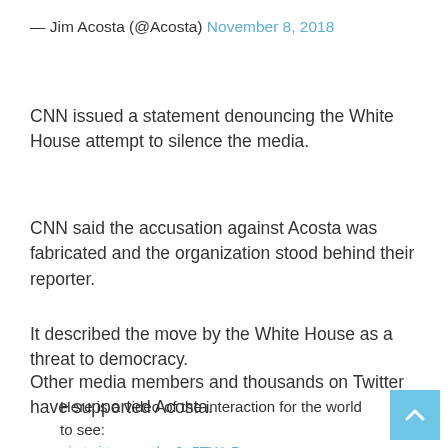— Jim Acosta (@Acosta) November 8, 2018
CNN issued a statement denouncing the White House attempt to silence the media.
CNN said the accusation against Acosta was fabricated and the organization stood behind their reporter.
It described the move by the White House as a threat to democracy.
Other media members and thousands on Twitter have supported Acosta.
Here is a video of the interaction for the world to see:
pic.twitter.com/us8u5TWzDz